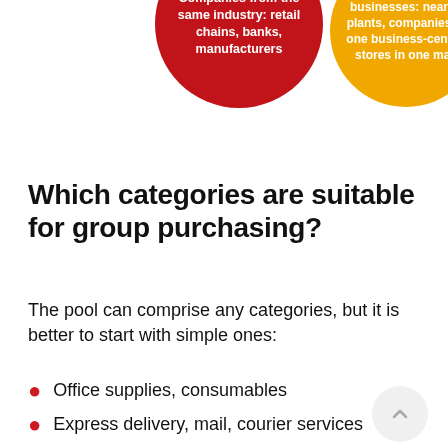[Figure (infographic): Two circles: a red circle with text 'Companies from the same industry: retail chains, banks, manufacturers' and an orange/yellow circle with text 'businesses: nearby plants, companies in one business-center, stores in one mall']
Which categories are suitable for group purchasing?
The pool can comprise any categories, but it is better to start with simple ones:
Office supplies, consumables
Express delivery, mail, courier services
Mobile telephony
Fixed-line telephony and Internet
Taxi services